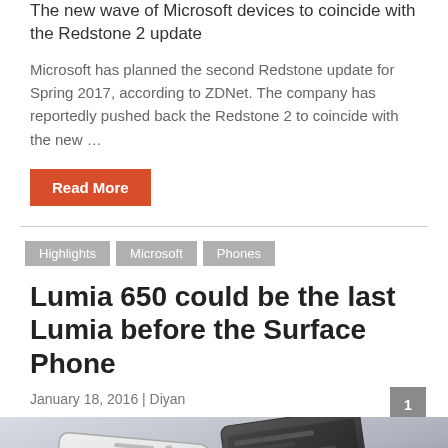The new wave of Microsoft devices to coincide with the Redstone 2 update
Microsoft has planned the second Redstone update for Spring 2017, according to ZDNet. The company has reportedly pushed back the Redstone 2 to coincide with the new …
Read More
Highlights
Microsoft
Phones
Lumia 650 could be the last Lumia before the Surface Phone
January 18, 2016 | Diyan
[Figure (photo): Photo of two smartphones (Lumia 650 white and black) on a light background]